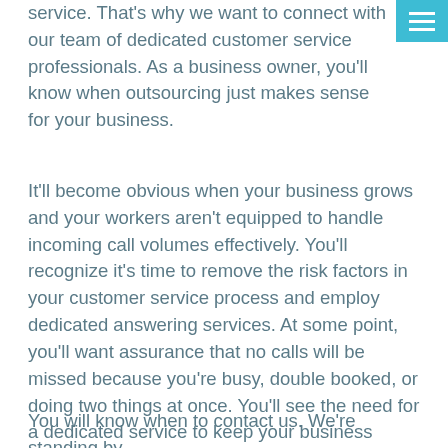[Figure (other): Navigation menu button (hamburger icon) with cyan/teal background in top-right corner]
service. That's why we want to connect with our team of dedicated customer service professionals. As a business owner, you'll know when outsourcing just makes sense for your business.
It'll become obvious when your business grows and your workers aren't equipped to handle incoming call volumes effectively. You'll recognize it's time to remove the risk factors in your customer service process and employ dedicated answering services. At some point, you'll want assurance that no calls will be missed because you're busy, double booked, or doing two things at once. You'll see the need for a dedicated service to keep your business running while you're away. You'll recognize that you want, and deserve, to fully enjoy your downtime and vacations!
You will know when to contact us. We're standing by.